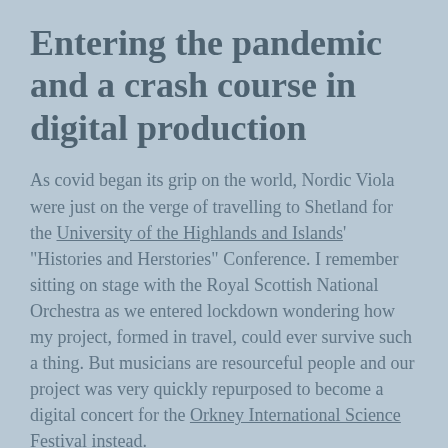Entering the pandemic and a crash course in digital production
As covid began its grip on the world, Nordic Viola were just on the verge of travelling to Shetland for the University of the Highlands and Islands' "Histories and Herstories" Conference. I remember sitting on stage with the Royal Scottish National Orchestra as we entered lockdown wondering how my project, formed in travel, could ever survive such a thing. But musicians are resourceful people and our project was very quickly repurposed to become a digital concert for the Orkney International Science Festival instead.
But where to begin? I could make rudimentary